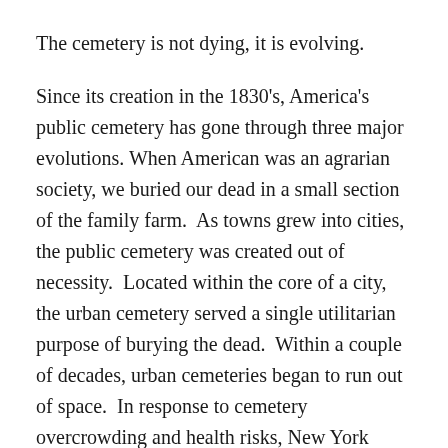The cemetery is not dying, it is evolving.
Since its creation in the 1830's, America's public cemetery has gone through three major evolutions. When American was an agrarian society, we buried our dead in a small section of the family farm. As towns grew into cities, the public cemetery was created out of necessity. Located within the core of a city, the urban cemetery served a single utilitarian purpose of burying the dead. Within a couple of decades, urban cemeteries began to run out of space. In response to cemetery overcrowding and health risks, New York State passed the Rural Cemetery Act. The Rural Cemetery Act forced new cemeteries to locate on the outer fringes of cities, and opened the door to cemeteries becoming a commercial business. The Rural Cemetery Act also set